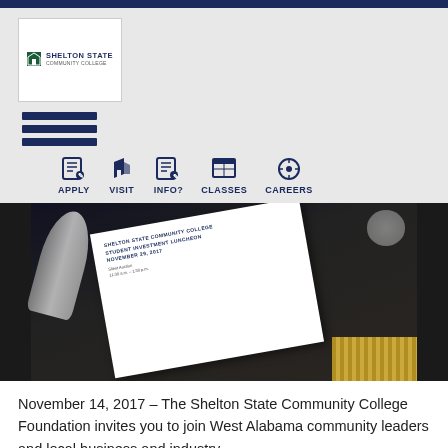[Figure (logo): Shelton State Community College logo — shield icon with green square, text 'SHELTON STATE COMMUNITY COLLEGE']
[Figure (infographic): Navigation bar with hamburger menu icon and five navigation items: APPLY, VISIT, INFO?, CLASSES, CAREERS each with icons]
[Figure (photo): Photo of a Shelton State Community College Foundation Student Investment Luncheon program dated November 29, 2017, on a dark tablecloth with a spoon visible]
November 14, 2017 – The Shelton State Community College Foundation invites you to join West Alabama community leaders and local business and industry